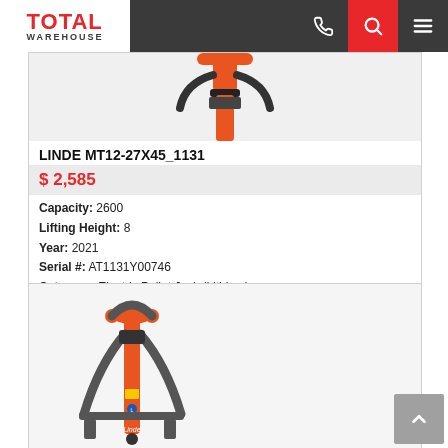TOTAL WAREHOUSE
[Figure (photo): Partial top view of an orange and black electric pallet jack handle - Linde model]
LINDE MT12-27X45_1131
$ 2,585
Capacity: 2600
Lifting Height: 8
Year: 2021
Serial #: AT1131Y00746
Category: Electric Pallet Jack (Lithium)
Location: Las-Re
[Figure (photo): Full view of an orange and dark grey Linde electric pallet jack standing upright, showing the handle/tiller arm and forks from above]